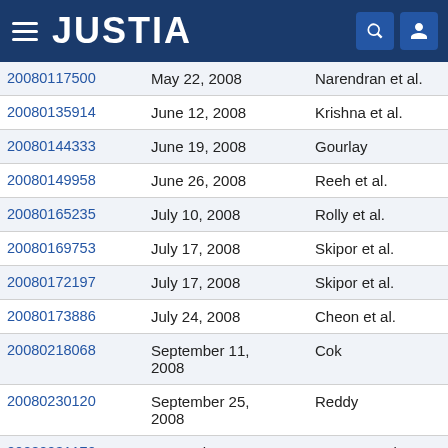JUSTIA
| Application Number | Date | Inventor(s) |
| --- | --- | --- |
| 20080117500 | May 22, 2008 | Narendran et al. |
| 20080135914 | June 12, 2008 | Krishna et al. |
| 20080144333 | June 19, 2008 | Gourlay |
| 20080149958 | June 26, 2008 | Reeh et al. |
| 20080165235 | July 10, 2008 | Rolly et al. |
| 20080169753 | July 17, 2008 | Skipor et al. |
| 20080172197 | July 17, 2008 | Skipor et al. |
| 20080173886 | July 24, 2008 | Cheon et al. |
| 20080218068 | September 11, 2008 | Cok |
| 20080230120 | September 25, 2008 | Reddy |
| 20080231170 | September 25, | Masato et al. |